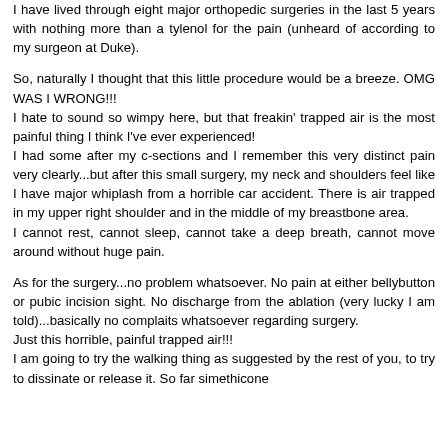I have lived through eight major orthopedic surgeries in the last 5 years with nothing more than a tylenol for the pain (unheard of according to my surgeon at Duke).
So, naturally I thought that this little procedure would be a breeze. OMG WAS I WRONG!!! I hate to sound so wimpy here, but that freakin' trapped air is the most painful thing I think I've ever experienced! I had some after my c-sections and I remember this very distinct pain very clearly...but after this small surgery, my neck and shoulders feel like I have major whiplash from a horrible car accident. There is air trapped in my upper right shoulder and in the middle of my breastbone area. I cannot rest, cannot sleep, cannot take a deep breath, cannot move around without huge pain.
As for the surgery...no problem whatsoever. No pain at either bellybutton or pubic incision sight. No discharge from the ablation (very lucky I am told)...basically no complaits whatsoever regarding surgery. Just this horrible, painful trapped air!!! I am going to try the walking thing as suggested by the rest of you, to try to dissinate or release it. So far simethicone